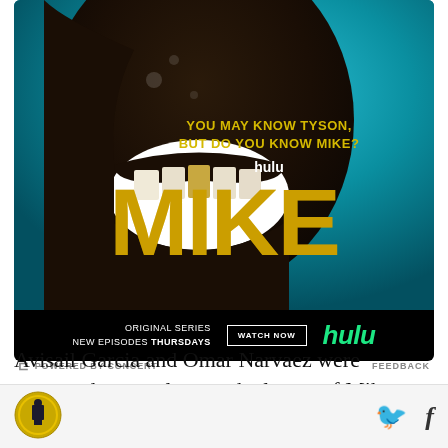[Figure (photo): Hulu advertisement for the original series 'MIKE'. Shows a close-up of a laughing face with a gold tooth against a teal background. Text reads 'YOU MAY KNOW TYSON, BUT DO YOU KNOW MIKE?' with the word 'hulu' above the large yellow 'MIKE' title. Bottom bar shows 'ORIGINAL SERIES NEW EPISODES THURSDAYS', a 'WATCH NOW' button, and the Hulu logo in green.]
POWERED BY CONCERT   FEEDBACK
Avisail Garcia and Omar Narvaez were supposed to supplement the losses of Mike Moustakas and
[Figure (logo): Site logo: circular badge with gold/yellow design]